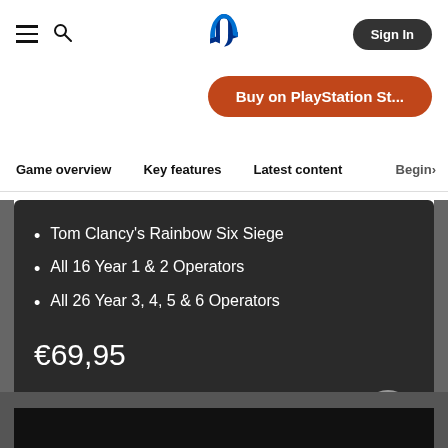PlayStation Store header with hamburger menu, search icon, PlayStation logo, and Sign In button
Buy on PlayStation St...
Game overview  Key features  Latest content  Begin›
Tom Clancy's Rainbow Six Siege
All 16 Year 1 & 2 Operators
All 26 Year 3, 4, 5 & 6 Operators
€69,95
Add to Cart
[Figure (screenshot): Black area at bottom of page representing a video or image thumbnail]